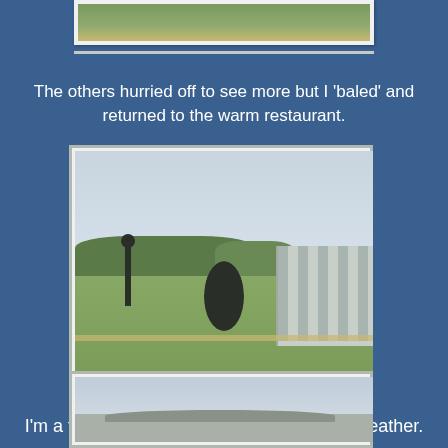[Figure (photo): Partial view of a landscape/field photo at the top of the page, partially cropped]
The others hurried off to see more but I 'baled' and returned to the warm restaurant.
[Figure (photo): Outdoor sculpture garden with large bronze abstract sculpture in the center, other sculptures visible, modern building on the right, green lawn, overcast sky]
I'm a true Queenslander and love the hot weather.
[Figure (photo): Partial view of a building with a curved roof under a grey overcast sky]